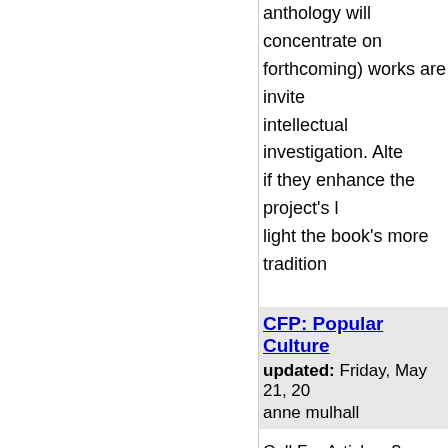anthology will concentrate on forthcoming) works are invited intellectual investigation. Alte if they enhance the project's light the book's more tradition
CFP: Popular Culture
updated: Friday, May 21, 20
anne mulhall
Call For Articles: ?Popular Cu collection; 6/30/04)
We invite submissions for a re of popular culture and postm readings of emerging cultural in the diversity of cultural exp for exploration include, but a